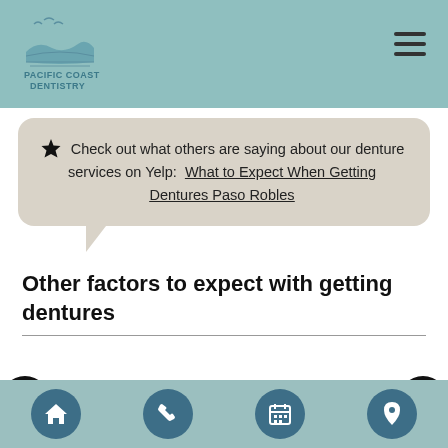Pacific Coast Dentistry
Check out what others are saying about our denture services on Yelp: What to Expect When Getting Dentures Paso Robles
Other factors to expect with getting dentures
The dentures that one gets from our office will be a custom fit to the individual's mouth, but may take